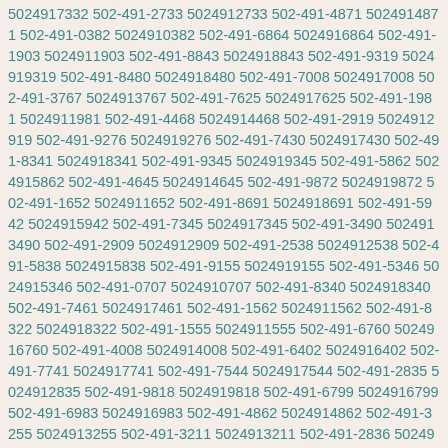5024917332 502-491-2733 5024912733 502-491-4871 5024914871 502-491-0382 5024910382 502-491-6864 5024916864 502-491-1903 5024911903 502-491-8843 5024918843 502-491-9319 5024919319 502-491-8480 5024918480 502-491-7008 5024917008 502-491-3767 5024913767 502-491-7625 5024917625 502-491-1981 5024911981 502-491-4468 5024914468 502-491-2919 5024912919 502-491-9276 5024919276 502-491-7430 5024917430 502-491-8341 5024918341 502-491-9345 5024919345 502-491-5862 5024915862 502-491-4645 5024914645 502-491-9872 5024919872 502-491-1652 5024911652 502-491-8691 5024918691 502-491-5942 5024915942 502-491-7345 5024917345 502-491-3490 5024913490 502-491-2909 5024912909 502-491-2538 5024912538 502-491-5838 5024915838 502-491-9155 5024919155 502-491-5346 5024915346 502-491-0707 5024910707 502-491-8340 5024918340 502-491-7461 5024917461 502-491-1562 5024911562 502-491-8322 5024918322 502-491-1555 5024911555 502-491-6760 5024916760 502-491-4008 5024914008 502-491-6402 5024916402 502-491-7741 5024917741 502-491-7544 5024917544 502-491-2835 5024912835 502-491-9818 5024919818 502-491-6799 5024916799 502-491-6983 5024916983 502-491-4862 5024914862 502-491-3255 5024913255 502-491-3211 5024913211 502-491-2836 5024912836 502-491-5698 5024915698 502-491-3394 5024913394 502-491-5790 5024915790 502-491-9604 5024919604 502-491-8952 5024918952 502-491-5547 5024915547 502-491-1321 5024911321 502-491-5566 5024915566 502-491-6921 5024916921 502-491-0355 5024910355 502-491-6036 5024916036 502-491-3181 5024913181 502-491-2786 5024912786 502-491-2015 5024912015 502-491-0249 5024910249 502-491-0106 5024910106 502-491-1039 5024911039 502-